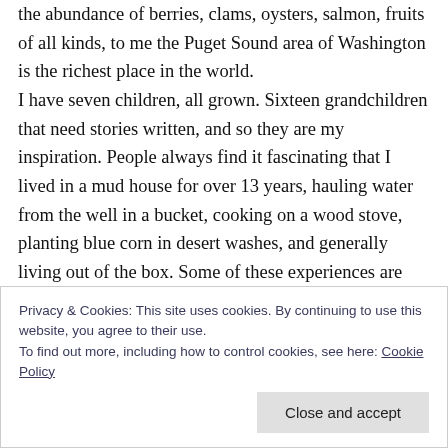the abundance of berries, clams, oysters, salmon, fruits of all kinds, to me the Puget Sound area of Washington is the richest place in the world. I have seven children, all grown. Sixteen grandchildren that need stories written, and so they are my inspiration. People always find it fascinating that I lived in a mud house for over 13 years, hauling water from the well in a bucket, cooking on a wood stove, planting blue corn in desert washes, and generally living out of the box. Some of these experiences are tapped into my novels.
Privacy & Cookies: This site uses cookies. By continuing to use this website, you agree to their use. To find out more, including how to control cookies, see here: Cookie Policy